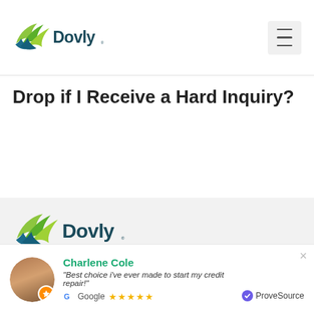[Figure (logo): Dovly logo with green bird/wing icon and dark teal 'Dovly' wordmark]
[Figure (other): Hamburger menu icon button]
Drop if I Receive a Hard Inquiry?
[Figure (logo): Dovly logo (larger version) with green wing icon and dark teal 'Dovly' wordmark]
Dovly is an advanced credit solutions engine that tracks, manages, and restores your credit.
Charlene Cole
"Best choice i've ever made to start my credit repair!"
Google ★★★★★
ProveSource